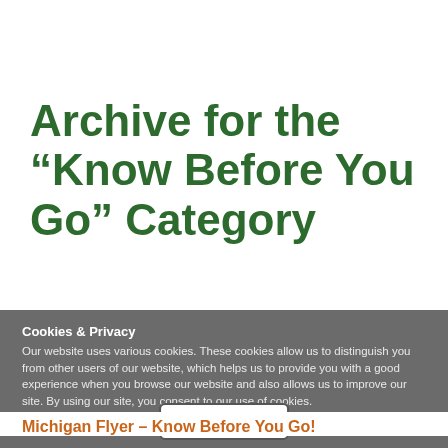Archive for the “Know Before You Go” Category
Cookies & Privacy
Our website uses various cookies. These cookies allow us to distinguish you from other users of our website, which helps us to provide you with a good experience when you browse our website and also allows us to improve our site. By using our site, you consent to our use of cookies.
Read more about the types of cookies we use
Accept
Michigan Flyer – Know Before You Go!